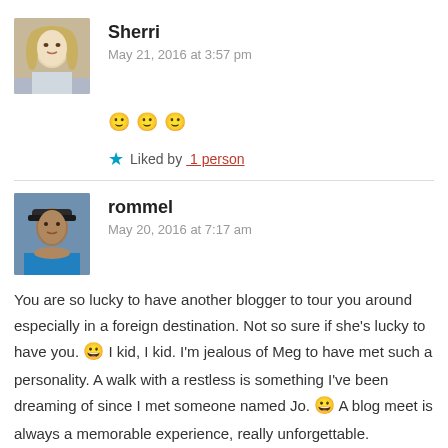Sherri
May 21, 2016 at 3:57 pm
🙂 🙂 🙂
Liked by 1 person
rommel
May 20, 2016 at 7:17 am
You are so lucky to have another blogger to tour you around especially in a foreign destination. Not so sure if she's lucky to have you. 😀 I kid, I kid. I'm jealous of Meg to have met such a personality. A walk with a restless is something I've been dreaming of since I met someone named Jo. 😀 A blog meet is always a memorable experience, really unforgettable.
I see you two have the same image results. Love the graffiti the most. But overall, like I've said, when a city has